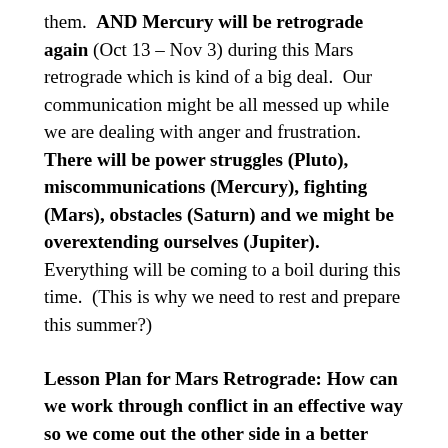them. AND Mercury will be retrograde again (Oct 13 – Nov 3) during this Mars retrograde which is kind of a big deal. Our communication might be all messed up while we are dealing with anger and frustration. There will be power struggles (Pluto), miscommunications (Mercury), fighting (Mars), obstacles (Saturn) and we might be overextending ourselves (Jupiter). Everything will be coming to a boil during this time. (This is why we need to rest and prepare this summer?)
Lesson Plan for Mars Retrograde: How can we work through conflict in an effective way so we come out the other side in a better place? (You are going to really want to have your